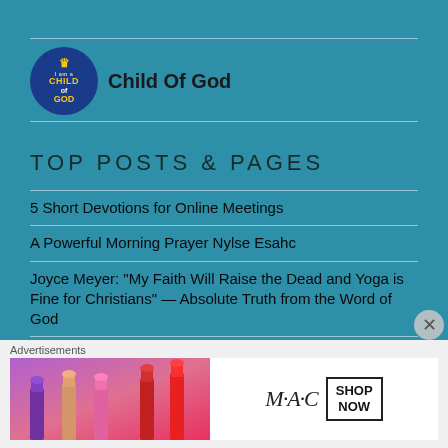[Figure (logo): Child Of God circular logo with crown, blue background, gold text]
Child Of God
TOP POSTS & PAGES
5 Short Devotions for Online Meetings
A Powerful Morning Prayer Nylse Esahc
Joyce Meyer: “My Faith Will Raise the Dead and Yoga is Fine for Christians” — Absolute Truth from the Word of God
Top 3 Inspiring Christian Tattoos to Get and Why
good morning wishes images whatsapp messages (9)
Advertisements
[Figure (illustration): MAC cosmetics advertisement banner showing lipsticks and SHOP NOW button]